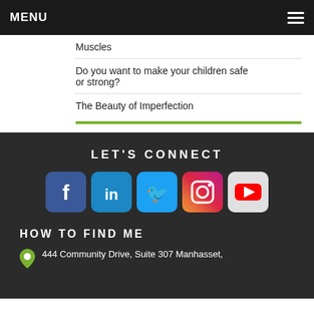MENU
Muscles
Do you want to make your children safe or strong?
The Beauty of Imperfection
LET'S CONNECT
[Figure (infographic): Row of five social media icons: Facebook, LinkedIn, Twitter, Instagram, YouTube]
HOW TO FIND ME
444 Community Drive, Suite 307 Manhasset,